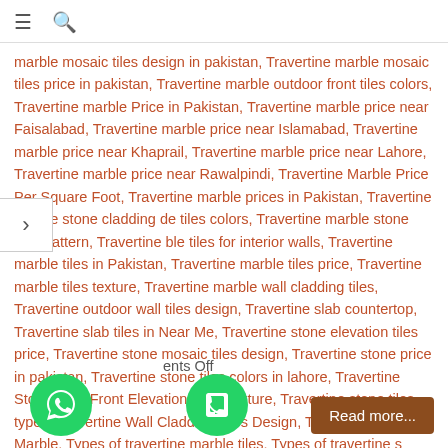☰ 🔍
marble mosaic tiles design in pakistan, Travertine marble mosaic tiles price in pakistan, Travertine marble outdoor front tiles colors, Travertine marble Price in Pakistan, Travertine marble price near Faisalabad, Travertine marble price near Islamabad, Travertine marble price near Khaprail, Travertine marble price near Lahore, Travertine marble price near Rawalpindi, Travertine Marble Price Per Square Foot, Travertine marble prices in Pakistan, Travertine marble stone cladding de tiles colors, Travertine marble stone tiles pattern, Travertine ble tiles for interior walls, Travertine marble tiles in Pakistan, Travertine marble tiles price, Travertine marble tiles texture, Travertine marble wall cladding tiles, Travertine outdoor wall tiles design, Travertine slab countertop, Travertine slab tiles in Near Me, Travertine stone elevation tiles price, Travertine stone mosaic tiles design, Travertine stone price in pakistan, Travertine stone tiles colors in lahore, Travertine Stone Tiles Front Elevation Tiles Texture, Travertine stone tiles types, Travertine Wall Cladding Tiles Design, Types of Travertine Marble, Types of travertine marble tiles, Types of travertine s design, Wall Facade Marble Tiles Design
ents Off
Read more...